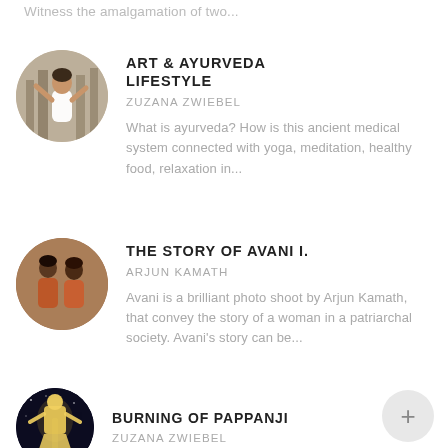Witness the amalgamation of two...
ART & AYURVEDA LIFESTYLE
ZUZANA ZWIEBEL
What is ayurveda? How is this ancient medical system connected with yoga, meditation, healthy food, relaxation in...
THE STORY OF AVANI I.
ARJUN KAMATH
Avani is a brilliant photo shoot by Arjun Kamath, that convey the story of a woman in a patriarchal society. Avani's story can be...
BURNING OF PAPPANJI
ZUZANA ZWIEBEL
[Figure (illustration): Circular thumbnail of a woman in white top with arms raised against trees]
[Figure (illustration): Circular thumbnail of two women in traditional Indian attire]
[Figure (illustration): Circular dark thumbnail with illuminated festival figure/effigy]